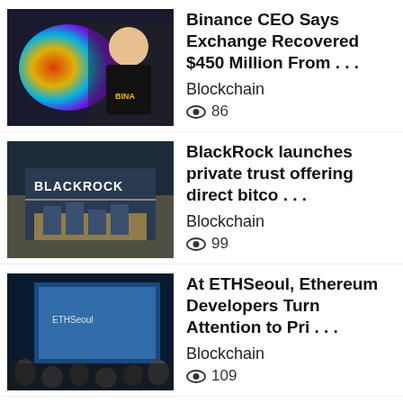[Figure (photo): Photo of Binance CEO in front of colorful graphic background]
Binance CEO Says Exchange Recovered $450 Million From...
Blockchain
86
[Figure (photo): BlackRock logo on building exterior]
BlackRock launches private trust offering direct bitco...
Blockchain
99
[Figure (photo): Audience at ETHSeoul conference with blue screen presentation]
At ETHSeoul, Ethereum Developers Turn Attention to Pri...
Blockchain
109
[Figure (photo): Colorful digital bridge NFT art with rainbow lines]
Tiffany & Co. NFT Sale Sells out, Luxury Jewelry R...
Blockchain
75
[Figure (photo): Blurred dark image, partial view]
Circle Invested in 2 Hacked Crypto Companies, Adding t